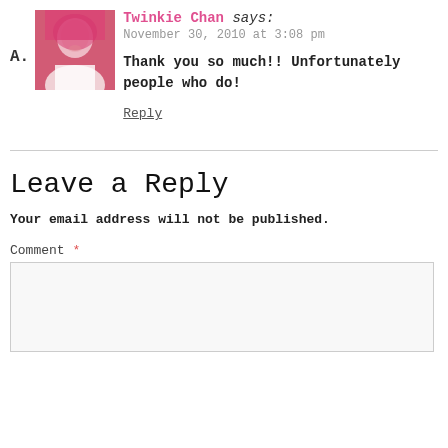A. Twinkie Chan says:
November 30, 2010 at 3:08 pm
Thank you so much!! Unfortunately people who do!
Reply
Leave a Reply
Your email address will not be published.
Comment *